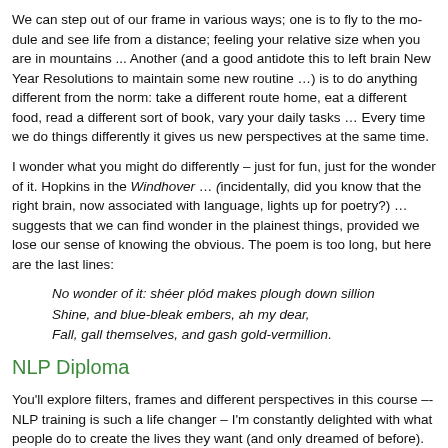We can step out of our frame in various ways; one is to fly to the moon and see life from a distance; feeling your relative size when you are in mountains ... Another (and a good antidote this to left brain New Year Resolutions to maintain some new routine ...) is to do anything different from the norm: take a different route home, eat a different food, read a different sort of book, vary your daily tasks ... Every time we do things differently it gives us new perspectives at the same time.
I wonder what you might do differently – just for fun, just for the wonder of it. Hopkins in the Windhover ... (incidentally, did you know that the right brain, now associated with language, lights up for poetry?) … suggests that we can find wonder in the plainest things, provided we lose our sense of knowing the obvious. The poem is too long but here are the last lines:
No wonder of it: shéer plód makes plough down sillion
Shine, and blue-bleak embers, ah my dear,
Fall, gall themselves, and gash gold-vermillion.
NLP Diploma
You'll explore filters, frames and different perspectives in this course – NLP training is such a life changer – I'm constantly delighted with what people do to create the lives they want (and only dreamed of before). First module, Communication, is on 1-2 March, 2nd module, Leadership and Influence, is on 29-30 March, 3rd module, Coaching and Change, is on 26-27 April.